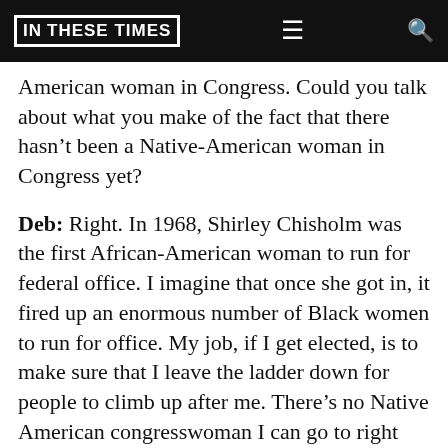IN THESE TIMES
American woman in Congress. Could you talk about what you make of the fact that there hasn't been a Native-American woman in Congress yet?
Deb: Right. In 1968, Shirley Chisholm was the first African-American woman to run for federal office. I imagine that once she got in, it fired up an enormous number of Black women to run for office. My job, if I get elected, is to make sure that I leave the ladder down for people to climb up after me. There's no Native American congresswoman I can go to right now to ask for help. Luckily there are so many women of color who have supported my campaign, and that's helped me a tremendous amount. But it would be nice if we had a Congress